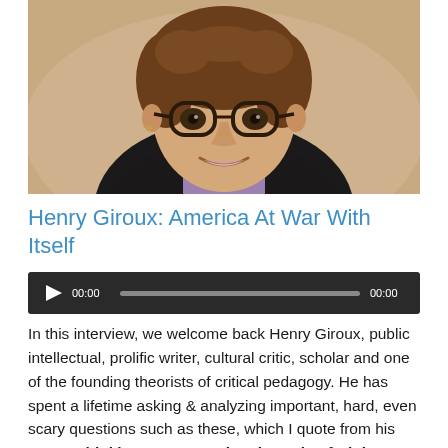[Figure (photo): Portrait photo of Henry Giroux, a man with curly brown hair, round glasses, and a slight smile, wearing a black jacket and purple shirt, photographed against a blurred outdoor background.]
Henry Giroux: America At War With Itself
[Figure (other): Audio player widget with play button, time display showing 00:00, progress bar, and end time 00:00 on a dark background.]
In this interview, we welcome back Henry Giroux, public intellectual, prolific writer, cultural critic, scholar and one of the founding theorists of critical pedagogy. He has spent a lifetime asking & analyzing important, hard, even scary questions such as these, which I quote from his essay, Thinking Dangerously: The Role of Higher Education in